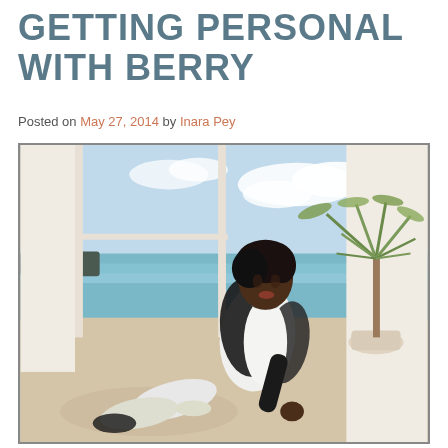GETTING PERSONAL WITH BERRY
Posted on May 27, 2014 by Inara Pey
[Figure (photo): 3D rendered avatar of a woman with short dark hair, wearing a white bodysuit and black jacket, posed on a light sandy/cream surface with a large window overlooking a tropical beach scene and an indoor potted palm tree in the background.]